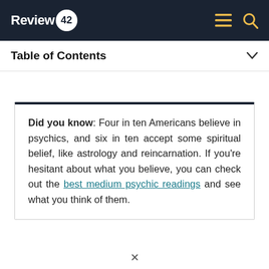Review 42
Table of Contents
Did you know: Four in ten Americans believe in psychics, and six in ten accept some spiritual belief, like astrology and reincarnation. If you're hesitant about what you believe, you can check out the best medium psychic readings and see what you think of them.